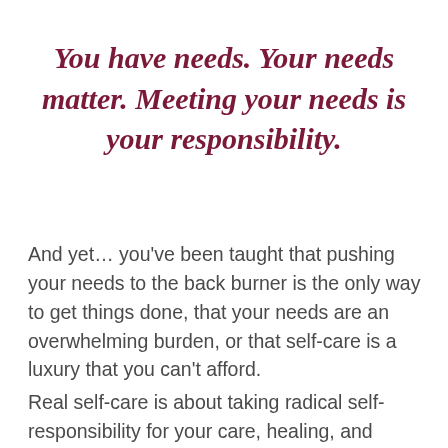You have needs. Your needs matter. Meeting your needs is your responsibility.
And yet… you've been taught that pushing your needs to the back burner is the only way to get things done, that your needs are an overwhelming burden, or that self-care is a luxury that you can't afford.
Real self-care is about taking radical self-responsibility for your care, healing, and